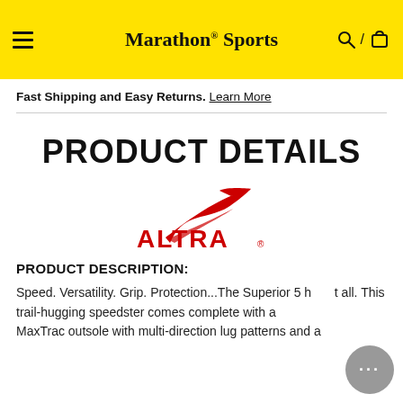Marathon Sports
Fast Shipping and Easy Returns. Learn More
PRODUCT DETAILS
[Figure (logo): Altra running brand logo in red]
PRODUCT DESCRIPTION:
Speed. Versatility. Grip. Protection...The Superior 5 h... all. This trail-hugging speedster comes complete with a MaxTrac outsole with multi-direction lug patterns and a